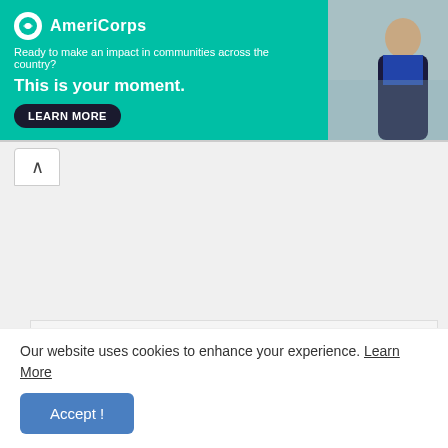[Figure (screenshot): AmeriCorps banner advertisement with teal background. Logo with white circle, text 'AmeriCorps'. Tagline: 'Ready to make an impact in communities across the country?' Headline: 'This is your moment.' with a 'LEARN MORE' button. Photo of a person on the right side.]
(iii) by Higher / Senior Grade in English and Lower/ Junior Grade in Tamil.
2.Technical Qualification for Group IV Steno-Typist Grade III
Must have passed the Government Technical Examination both in Typewriting and in Shorthand:-
Our website uses cookies to enhance your experience. Learn More
Accept !